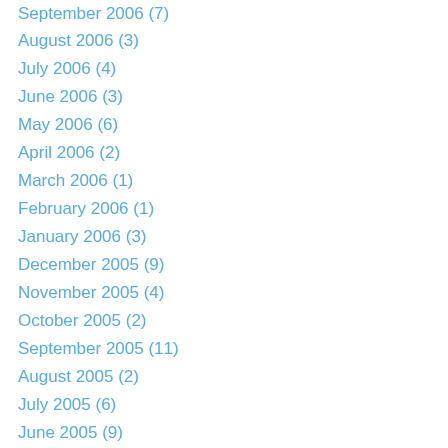September 2006 (7)
August 2006 (3)
July 2006 (4)
June 2006 (3)
May 2006 (6)
April 2006 (2)
March 2006 (1)
February 2006 (1)
January 2006 (3)
December 2005 (9)
November 2005 (4)
October 2005 (2)
September 2005 (11)
August 2005 (2)
July 2005 (6)
June 2005 (9)
May 2005 (5)
April 2005 (6)
March 2005 (5)
February 2005 (3)